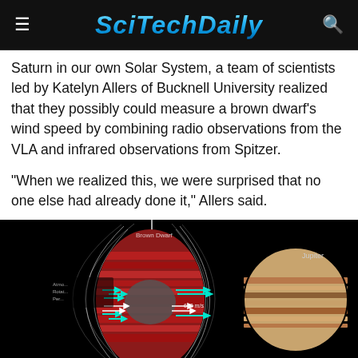SciTechDaily
Saturn in our own Solar System, a team of scientists led by Katelyn Allers of Bucknell University realized that they possibly could measure a brown dwarf's wind speed by combining radio observations from the VLA and infrared observations from Spitzer.
“When we realized this, we were surprised that no one else had already done it,” Allers said.
[Figure (illustration): Scientific diagram showing a brown dwarf with magnetic field lines (white arcs), layered atmospheric bands (red/orange), cyan arrows indicating wind direction at the atmosphere level, white arrows indicating interior rotation, and a comparison image of Jupiter on the right. Text labels include 'Brown Dwarf', 'Jupiter', 'Interior Rotation Period = 1.758 hours', and a wind speed annotation near the center.]